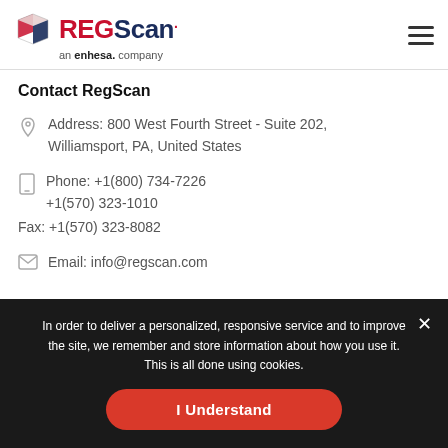REGScan — an enhesa. company
Contact RegScan
Address: 800 West Fourth Street - Suite 202, Williamsport, PA, United States
Phone: +1(800) 734-7226
+1(570) 323-1010
Fax: +1(570) 323-8082
Email: info@regscan.com
In order to deliver a personalized, responsive service and to improve the site, we remember and store information about how you use it. This is all done using cookies.